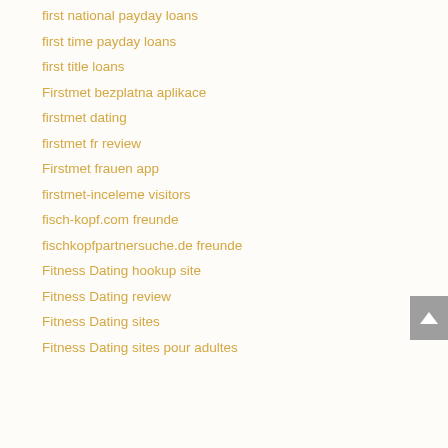first national payday loans
first time payday loans
first title loans
Firstmet bezplatna aplikace
firstmet dating
firstmet fr review
Firstmet frauen app
firstmet-inceleme visitors
fisch-kopf.com freunde
fischkopfpartnersuche.de freunde
Fitness Dating hookup site
Fitness Dating review
Fitness Dating sites
Fitness Dating sites pour adultes